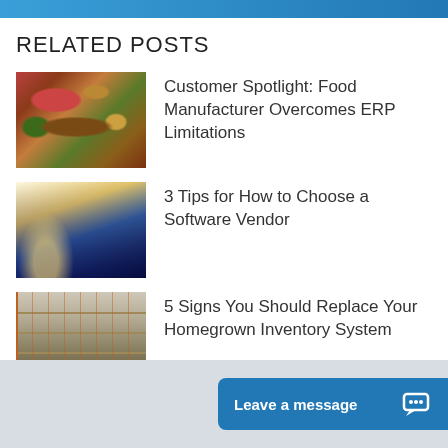RELATED POSTS
[Figure (photo): Photo of food items including meats, vegetables, cheese and bread]
Customer Spotlight: Food Manufacturer Overcomes ERP Limitations
[Figure (photo): Business person in suit giving thumbs up with bright light in background]
3 Tips for How to Choose a Software Vendor
[Figure (photo): Long warehouse aisle with tall shelving racks filled with inventory]
5 Signs You Should Replace Your Homegrown Inventory System
Leave a message